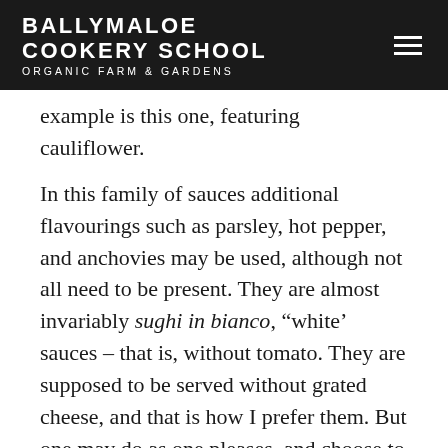BALLYMALOE COOKERY SCHOOL ORGANIC FARM & GARDENS
example is this one, featuring cauliflower.
In this family of sauces additional flavourings such as parsley, hot pepper, and anchovies may be used, although not all need to be present. They are almost invariably sughi in bianco, “white” sauces – that is, without tomato. They are supposed to be served without grated cheese, and that is how I prefer them. But one may do as one pleases, and choose to have either pecorino or Parmesan cheese, depending upon whether one wants the sauce more or less sharp.